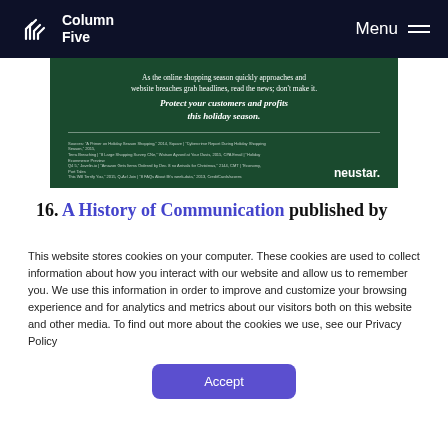Column Five | Menu
[Figure (infographic): Dark green Neustar advertisement banner. Text reads: 'As the online shopping season quickly approaches and website breaches grab headlines, read the news; don't make it. Protect your customers and profits this holiday season.' with small source citations and the Neustar logo.]
16. A History of Communication published by
This website stores cookies on your computer. These cookies are used to collect information about how you interact with our website and allow us to remember you. We use this information in order to improve and customize your browsing experience and for analytics and metrics about our visitors both on this website and other media. To find out more about the cookies we use, see our Privacy Policy